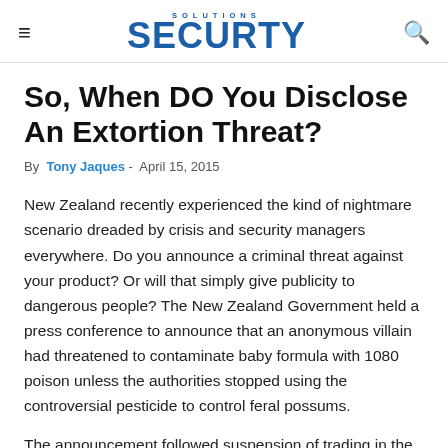Security Solutions
So, When DO You Disclose An Extortion Threat?
By Tony Jaques - April 15, 2015
New Zealand recently experienced the kind of nightmare scenario dreaded by crisis and security managers everywhere. Do you announce a criminal threat against your product? Or will that simply give publicity to dangerous people? The New Zealand Government held a press conference to announce that an anonymous villain had threatened to contaminate baby formula with 1080 poison unless the authorities stopped using the controversial pesticide to control feral possums.
The announcement followed suspension of trading in the